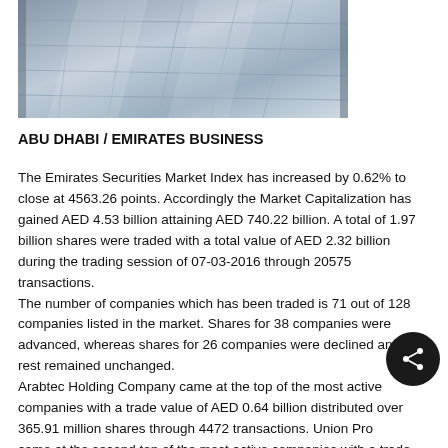[Figure (photo): Exterior photo of a glass-facade commercial building, taken from below at an angle, showing reflective windows and steel structure.]
ABU DHABI / EMIRATES BUSINESS
The Emirates Securities Market Index has increased by 0.62% to close at 4563.26 points. Accordingly the Market Capitalization has gained AED 4.53 billion attaining AED 740.22 billion. A total of 1.97 billion shares were traded with a total value of AED 2.32 billion during the trading session of 07-03-2016 through 20575 transactions.
The number of companies which has been traded is 71 out of 128 companies listed in the market. Shares for 38 companies were advanced, whereas shares for 26 companies were declined and the rest remained unchanged.
Arabtec Holding Company came at the top of the most active companies with a trade value of AED 0.64 billion distributed over 365.91 million shares through 4472 transactions. Union Properties came at the second top of the most active companies with a trade value of AED 195.25 million distributed over 224.55 million shares through 1863 transactions.